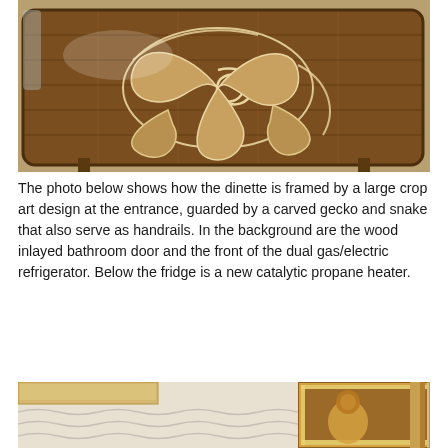[Figure (photo): Top-down view of a large wooden table surface with an ornate inlaid rose/floral crop-art design in lighter wood tones against darker wood planks. The table has rounded corners and appears to be in an RV or similar interior setting.]
The photo below shows how the dinette is framed by a large crop art design at the entrance, guarded by a carved gecko and snake that also serve as handrails. In the background are the wood inlayed bathroom door and the front of the dual gas/electric refrigerator. Below the fridge is a new catalytic propane heater.
[Figure (photo): Interior photo showing an RV dinette area entrance with white wave-patterned walls on the left, and on the right a wood-inlaid bathroom door featuring a decorative figure/design in contrasting wood tones, with vertical wood-strip panels on the far right.]